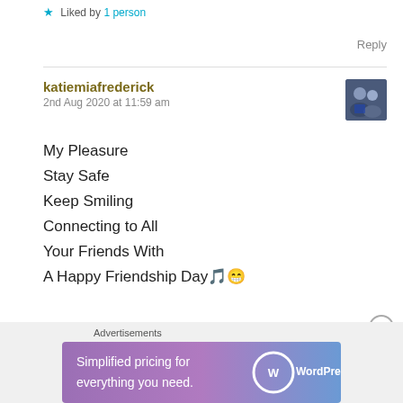★ Liked by 1 person
Reply
katiemiafrederick
2nd Aug 2020 at 11:59 am
[Figure (photo): Small avatar photo showing two people]
My Pleasure
Stay Safe
Keep Smiling
Connecting to All
Your Friends With
A Happy Friendship Day🎵😁
Advertisements
[Figure (screenshot): WordPress.com advertisement banner: 'Simplified pricing for everything you need.']